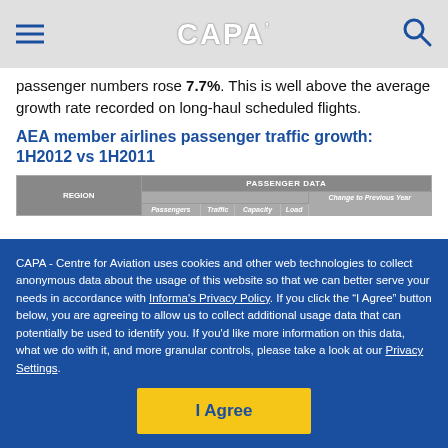CAPA
passenger numbers rose 7.7%. This is well above the average growth rate recorded on long-haul scheduled flights.
AEA member airlines passenger traffic growth: 1H2012 vs 1H2011
| REGION | PASSENGER DATA - Passengers | PASSENGER DATA - Traffic | PASSENGER DATA - Capacity | PASSENGER DATA - Load | PASSENGER DATA - Change to Previous Year |
| --- | --- | --- | --- | --- | --- |
CAPA - Centre for Aviation uses cookies and other web technologies to collect anonymous data about the usage of this website so that we can better serve your needs in accordance with Informa's Privacy Policy. If you click the "I Agree" button below, you are agreeing to allow us to collect additional usage data that can potentially be used to identify you. If you'd like more information on this data, what we do with it, and more granular controls, please take a look at our Privacy Settings.